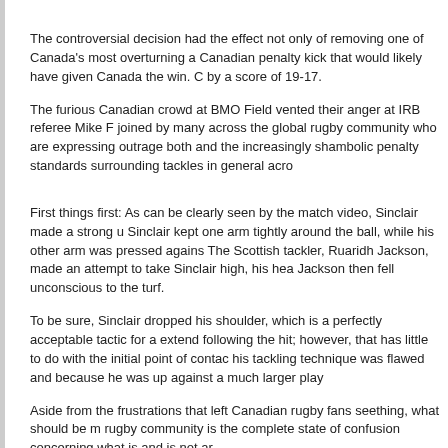The controversial decision had the effect not only of removing one of Canada's most overturning a Canadian penalty kick that would likely have given Canada the win. C by a score of 19-17.
The furious Canadian crowd at BMO Field vented their anger at IRB referee Mike F joined by many across the global rugby community who are expressing outrage both and the increasingly shambolic penalty standards surrounding tackles in general acr
First things first: As can be clearly seen by the match video, Sinclair made a strong u Sinclair kept one arm tightly around the ball, while his other arm was pressed agains The Scottish tackler, Ruaridh Jackson, made an attempt to take Sinclair high, his hea Jackson then fell unconscious to the turf.
To be sure, Sinclair dropped his shoulder, which is a perfectly acceptable tactic for a extend following the hit; however, that has little to do with the initial point of contac his tackling technique was flawed and because he was up against a much larger play
Aside from the frustrations that left Canadian rugby fans seething, what should be m rugby community is the complete state of confusion concerning what is and is not ar
Canada Head Coach Kieran Crowley, whose team rightly...
Article Source: Bleacher Report - Rugby Union